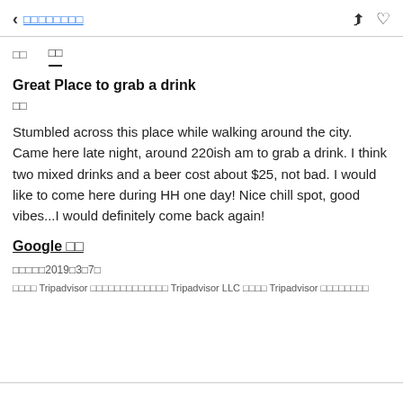< □□□□□□□□
□□   □□
Great Place to grab a drink
□□
Stumbled across this place while walking around the city. Came here late night, around 220ish am to grab a drink. I think two mixed drinks and a beer cost about $25, not bad. I would like to come here during HH one day! Nice chill spot, good vibes...I would definitely come back again!
Google □□
□□□□□2019□3□7□
□□□□ Tripadvisor □□□□□□□□□□□□□ Tripadvisor LLC □□□□ Tripadvisor □□□□□□□□